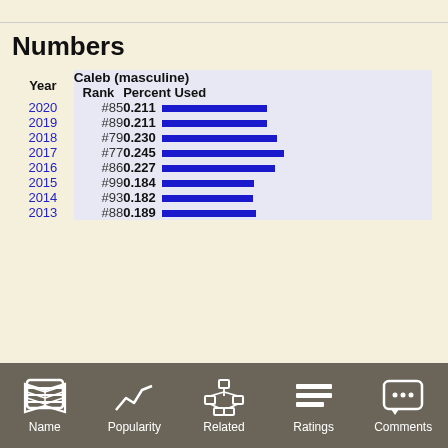Numbers
| Year | Rank | Percent Used |
| --- | --- | --- |
| 2020 | #85 | 0.211 |
| 2019 | #89 | 0.211 |
| 2018 | #79 | 0.230 |
| 2017 | #77 | 0.245 |
| 2016 | #86 | 0.227 |
| 2015 | #99 | 0.184 |
| 2014 | #93 | 0.182 |
| 2013 | #88 | 0.189 |
Name | Popularity | Related | Ratings | Comments